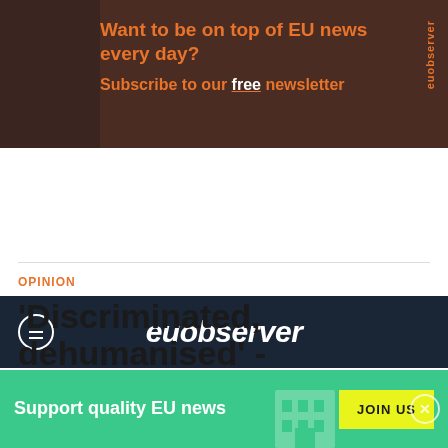[Figure (screenshot): EUObserver newsletter subscription banner ad with dark brown background, orange bold text 'Want to be on top of EU news every day?' and 'Subscribe to our free newsletter', with vertical 'euobserver' text on right side]
euobserver
SECTION / OPINION
OPINION
'Discriminated, dehumanised' - Denmark's Syrian refugees
Support quality EU news   JOIN US